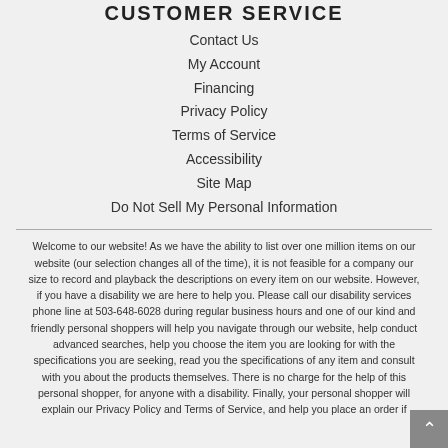CUSTOMER SERVICE
Contact Us
My Account
Financing
Privacy Policy
Terms of Service
Accessibility
Site Map
Do Not Sell My Personal Information
Welcome to our website! As we have the ability to list over one million items on our website (our selection changes all of the time), it is not feasible for a company our size to record and playback the descriptions on every item on our website. However, if you have a disability we are here to help you. Please call our disability services phone line at 503-648-6028 during regular business hours and one of our kind and friendly personal shoppers will help you navigate through our website, help conduct advanced searches, help you choose the item you are looking for with the specifications you are seeking, read you the specifications of any item and consult with you about the products themselves. There is no charge for the help of this personal shopper, for anyone with a disability. Finally, your personal shopper will explain our Privacy Policy and Terms of Service, and help you place an order if